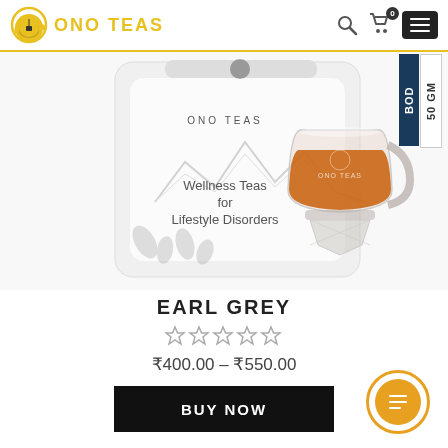ONO TEAS
[Figure (photo): ONO TEAS product package showing 'Wellness Teas for Lifestyle Disorders' with mountain illustration and a glass cup of amber-colored tea]
EARL GREY
★★★★★ (star rating, empty stars)
₹400.00 – ₹550.00
BUY NOW